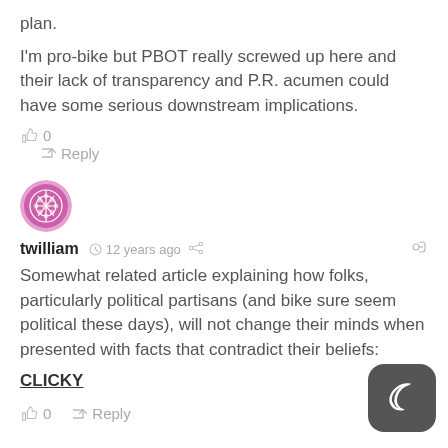plan.
I'm pro-bike but PBOT really screwed up here and their lack of transparency and P.R. acumen could have some serious downstream implications.
twilliam · 12 years ago
Somewhat related article explaining how folks, particularly political partisans (and bike sure seem political these days), will not change their minds when presented with facts that contradict their beliefs:
CLICKY